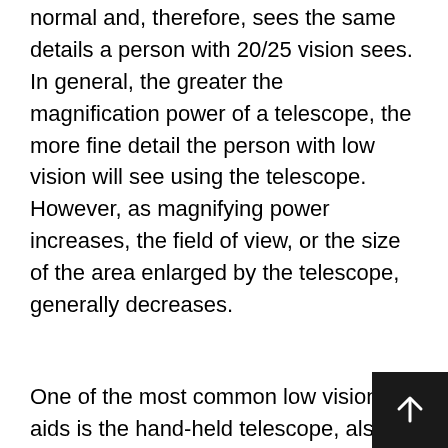normal and, therefore, sees the same details a person with 20/25 vision sees. In general, the greater the magnification power of a telescope, the more fine detail the person with low vision will see using the telescope. However, as magnifying power increases, the field of view, or the size of the area enlarged by the telescope, generally decreases.
One of the most common low vision aids is the hand-held telescope, also called a monocular [Figure 3]. Hand-held telescopes come in a wide variety of sizes, magnification powers and prices. Hand held telescopes work best to quickly view a distant object, such as reading a sign or locating an object. Clip-on telescopes allow the user to slip the telescope over his or her glasses for